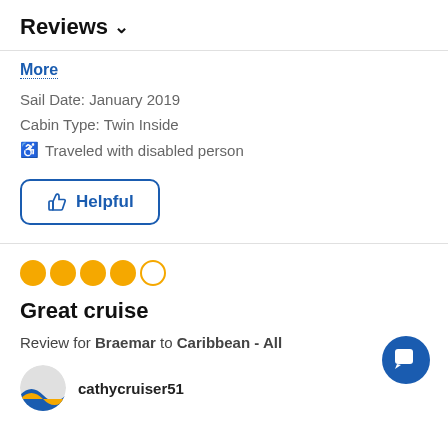Reviews ∨
More
Sail Date: January 2019
Cabin Type: Twin Inside
♿ Traveled with disabled person
👍 Helpful
[Figure (other): 4 out of 5 orange filled circles rating]
Great cruise
Review for Braemar to Caribbean - All
cathycruiser51